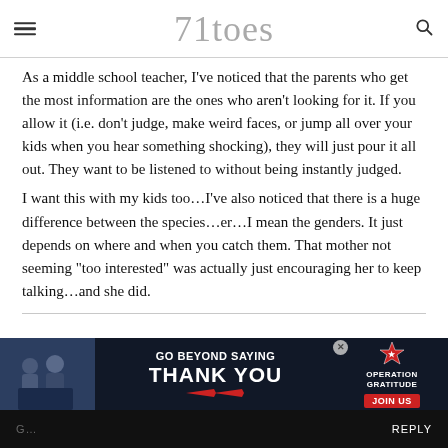71toes
As a middle school teacher, I've noticed that the parents who get the most information are the ones who aren't looking for it. If you allow it (i.e. don't judge, make weird faces, or jump all over your kids when you hear something shocking), they will just pour it all out. They want to be listened to without being instantly judged.
I want this with my kids too…I've also noticed that there is a huge difference between the species…er…I mean the genders. It just depends on where and when you catch them. That mother not seeming "too interested" was actually just encouraging her to keep talking…and she did.
[Figure (infographic): Advertisement banner: 'GO BEYOND SAYING THANK YOU' with Operation Gratitude logo and JOIN US button, dark background with American flag star motif]